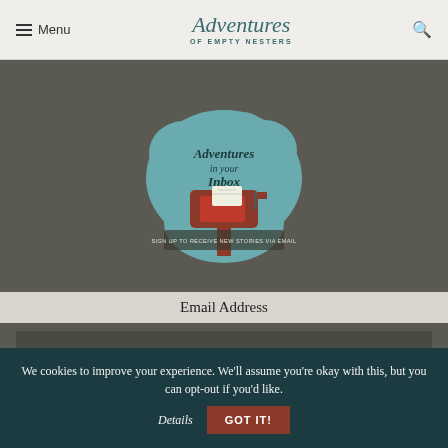Menu | Adventures of Empty Nesters
[Figure (illustration): Cloud-shaped illustration with script text 'Adventures in your Inbox', showing a red mailbox with letters, and text 'SIGN UP TO RECEIVE NEW STORIES VIA EMAIL']
Email Address
We cookies to improve your experience. We'll assume you're okay with this, but you can opt-out if you'd like. Details GOT IT!